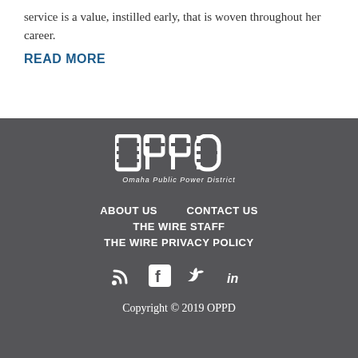service is a value, instilled early, that is woven throughout her career.
READ MORE
[Figure (logo): OPPD - Omaha Public Power District logo in white on dark grey background]
ABOUT US   CONTACT US   THE WIRE STAFF   THE WIRE PRIVACY POLICY
Copyright © 2019 OPPD